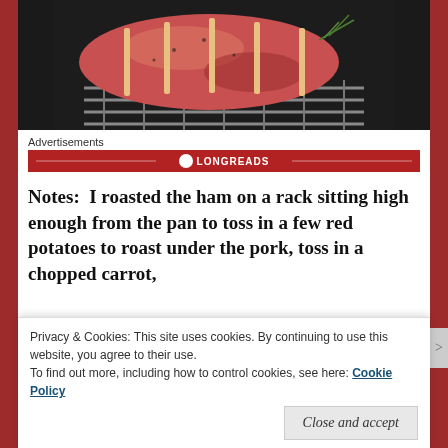[Figure (photo): Raw ham/pork roast on a metal oven rack, tied with string, with rosemary, in a dark roasting pan]
Advertisements
[Figure (logo): Longreads advertisement banner in dark red with white logo and text]
Notes:  I roasted the ham on a rack sitting high enough from the pan to toss in a few red potatoes to roast under the pork, toss in a chopped carrot,
Privacy & Cookies: This site uses cookies. By continuing to use this website, you agree to their use.
To find out more, including how to control cookies, see here: Cookie Policy
Close and accept